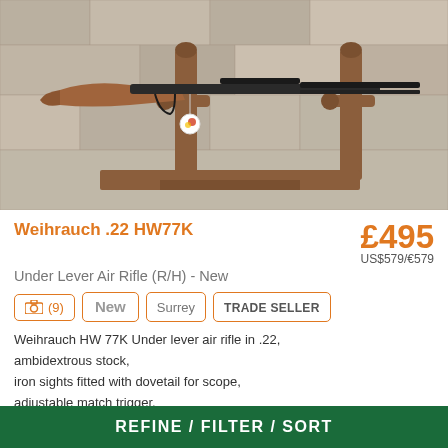[Figure (photo): Photo of a Weihrauch .22 HW77K under lever air rifle with wooden stock, mounted on wooden gun rack against stone wall background, with a small circular tag attached.]
Weihrauch .22 HW77K
£495
US$579/€579
Under Lever Air Rifle (R/H) - New
(9) New Surrey TRADE SELLER
Weihrauch HW 77K Under lever air rifle in .22,
ambidextrous stock,
iron sights fitted with dovetail for scope,
adjustable match trigger,
fixed barrel underlever design for superior accuracy,
REFINE / FILTER / SORT